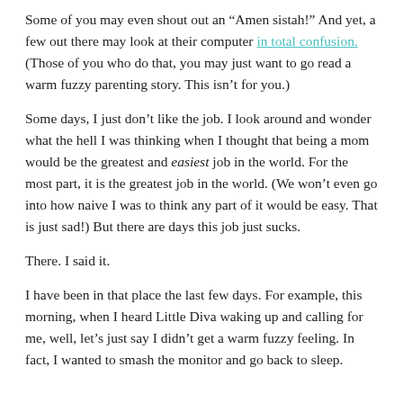Some of you may even shout out an “Amen sistah!” And yet, a few out there may look at their computer in total confusion. (Those of you who do that, you may just want to go read a warm fuzzy parenting story. This isn’t for you.)
Some days, I just don’t like the job. I look around and wonder what the hell I was thinking when I thought that being a mom would be the greatest and easiest job in the world. For the most part, it is the greatest job in the world. (We won’t even go into how naive I was to think any part of it would be easy. That is just sad!) But there are days this job just sucks.
There. I said it.
I have been in that place the last few days. For example, this morning, when I heard Little Diva waking up and calling for me, well, let’s just say I didn’t get a warm fuzzy feeling. In fact, I wanted to smash the monitor and go back to sleep.